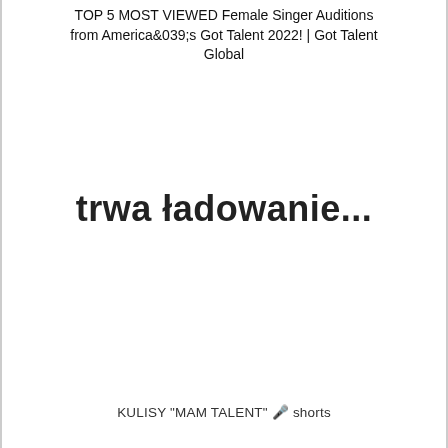TOP 5 MOST VIEWED Female Singer Auditions from America&039;s Got Talent 2022! | Got Talent Global
trwa ładowanie...
KULISY "MAM TALENT" 🎤 shorts